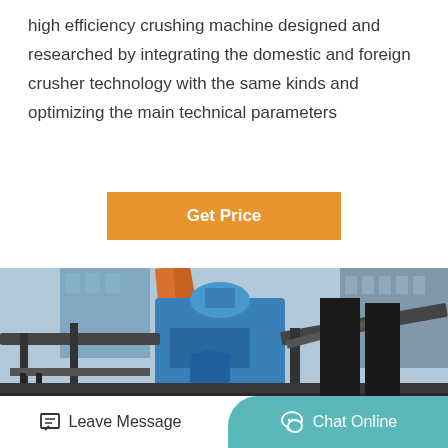high efficiency crushing machine designed and researched by integrating the domestic and foreign crusher technology with the same kinds and optimizing the main technical parameters
[Figure (other): Orange button labeled 'Get Price']
[Figure (photo): Industrial blue crushing machine with metal framework and conveyor structures at an industrial site]
Leave Message   Chat Online